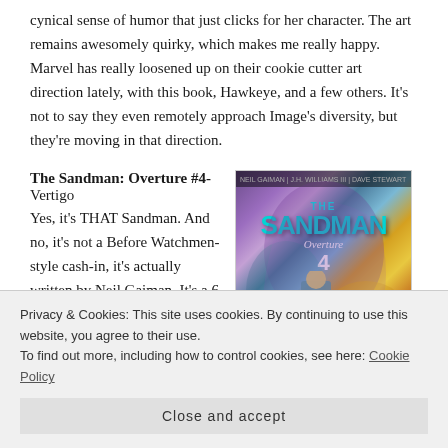cynical sense of humor that just clicks for her character. The art remains awesomely quirky, which makes me really happy. Marvel has really loosened up on their cookie cutter art direction lately, with this book, Hawkeye, and a few others. It's not to say they even remotely approach Image's diversity, but they're moving in that direction.
The Sandman: Overture #4- Vertigo
[Figure (illustration): Comic book cover for The Sandman: Overture #4, featuring colorful fantasy artwork with swirling colors, a central figure, and the title 'The Sandman Overture 4' in bold stylized text.]
Yes, it's THAT Sandman. And no, it's not a Before Watchmen-style cash-in, it's actually written by Neil Gaiman. It's a 6-part miniseries, set before Dream's imprisonment that
Privacy & Cookies: This site uses cookies. By continuing to use this website, you agree to their use.
To find out more, including how to control cookies, see here: Cookie Policy
Close and accept